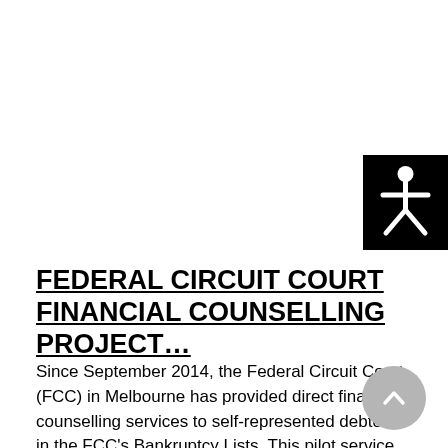[Figure (illustration): Accessibility icon: white stick figure person with arms and legs spread on black background]
FEDERAL CIRCUIT COURT FINANCIAL COUNSELLING PROJECT…
Since September 2014, the Federal Circuit Court (FCC) in Melbourne has provided direct financial counselling services to self-represented debtors in the FCC's Bankruptcy Lists. This pilot service, imp…
July 14, 2016